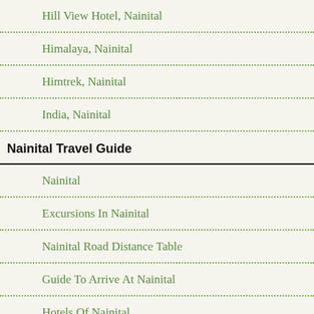Hill View Hotel, Nainital
Himalaya, Nainital
Himtrek, Nainital
India, Nainital
Nainital Travel Guide
Nainital
Excursions In Nainital
Nainital Road Distance Table
Guide To Arrive At Nainital
Hotels Of Nainital